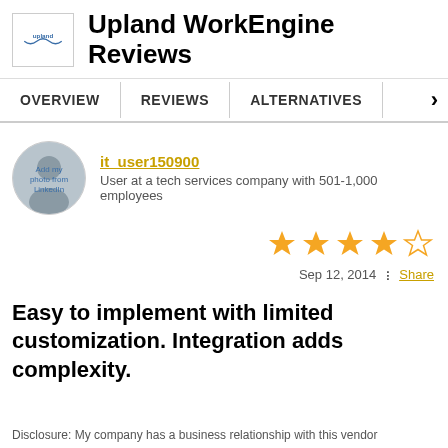Upland WorkEngine Reviews
OVERVIEW | REVIEWS | ALTERNATIVES
it_user150900
User at a tech services company with 501-1,000 employees
[Figure (other): 4 out of 5 star rating]
Sep 12, 2014   Share
Easy to implement with limited customization. Integration adds complexity.
Disclosure: My company has a business relationship with this vendor